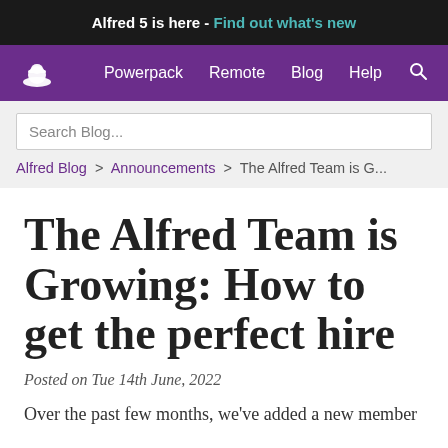Alfred 5 is here - Find out what's new
Powerpack  Remote  Blog  Help
Search Blog...
Alfred Blog > Announcements > The Alfred Team is G...
The Alfred Team is Growing: How to get the perfect hire
Posted on Tue 14th June, 2022
Over the past few months, we've added a new member